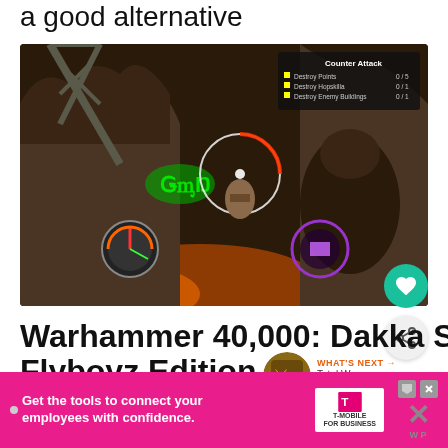a good alternative
[Figure (screenshot): Screenshot of Warhammer 40,000: Dakka Squadron video game showing aerial combat with HUD elements including health bars, targeting reticles, and a Counter Attack mission panel in the top right corner]
Warhammer 40,000: Dakka Squadron -Flyboyz Edition
WHAT'S NEXT → Total War Warhammer ...
[Figure (screenshot): Advertisement banner: Get the tools to connect your employees with confidence. T-Mobile for Business logo.]